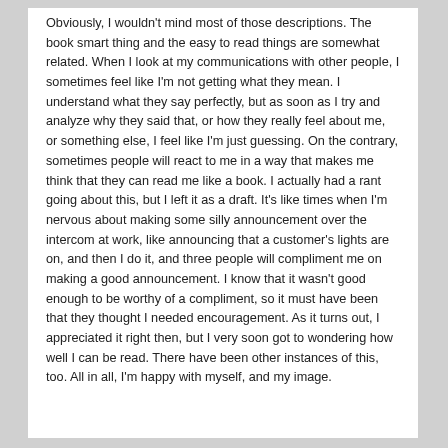Obviously, I wouldn't mind most of those descriptions. The book smart thing and the easy to read things are somewhat related. When I look at my communications with other people, I sometimes feel like I'm not getting what they mean. I understand what they say perfectly, but as soon as I try and analyze why they said that, or how they really feel about me, or something else, I feel like I'm just guessing. On the contrary, sometimes people will react to me in a way that makes me think that they can read me like a book. I actually had a rant going about this, but I left it as a draft. It's like times when I'm nervous about making some silly announcement over the intercom at work, like announcing that a customer's lights are on, and then I do it, and three people will compliment me on making a good announcement. I know that it wasn't good enough to be worthy of a compliment, so it must have been that they thought I needed encouragement. As it turns out, I appreciated it right then, but I very soon got to wondering how well I can be read. There have been other instances of this, too. All in all, I'm happy with myself, and my image.